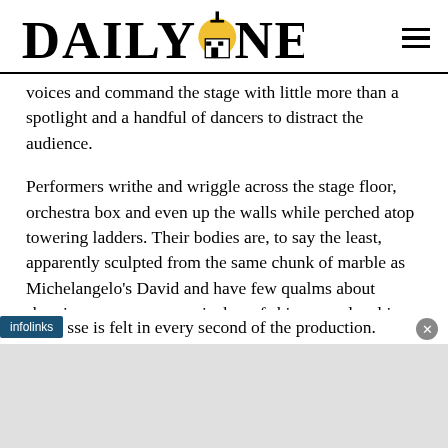Daily Nexus
voices and command the stage with little more than a spotlight and a handful of dancers to distract the audience.
Performers writhe and wriggle across the stage floor, orchestra box and even up the walls while perched atop towering ladders. Their bodies are, to say the least, apparently sculpted from the same chunk of marble as Michelangelo's David and have few qualms about showing as many square inches of skin as are legal in New York City. The influence of original director and co-author [...]sse is felt in every second of the production.